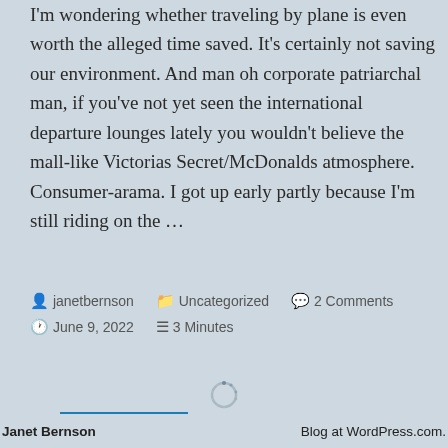I'm wondering whether traveling by plane is even worth the alleged time saved. It's certainly not saving our environment. And man oh corporate patriarchal man, if you've not yet seen the international departure lounges lately you wouldn't believe the mall-like Victorias Secret/McDonalds atmosphere. Consumer-arama. I got up early partly because I'm still riding on the …
Continue reading
janetbernson  Uncategorized  2 Comments  June 9, 2022  3 Minutes
[Figure (other): Loading spinner icon]
Janet Bernson    Blog at WordPress.com.